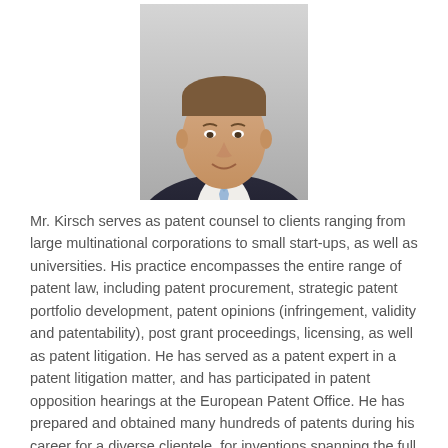[Figure (photo): Professional headshot of Mr. Kirsch, a man in a dark suit with a light blue tie, smiling, against a neutral background.]
Mr. Kirsch serves as patent counsel to clients ranging from large multinational corporations to small start-ups, as well as universities. His practice encompasses the entire range of patent law, including patent procurement, strategic patent portfolio development, patent opinions (infringement, validity and patentability), post grant proceedings, licensing, as well as patent litigation. He has served as a patent expert in a patent litigation matter, and has participated in patent opposition hearings at the European Patent Office. He has prepared and obtained many hundreds of patents during his career for a diverse clientele, for inventions spanning the full range of technologies, including software, business